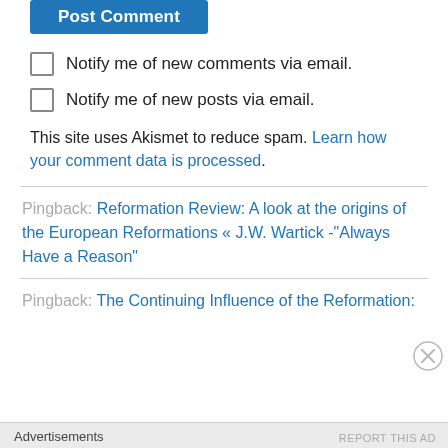Post Comment
Notify me of new comments via email.
Notify me of new posts via email.
This site uses Akismet to reduce spam. Learn how your comment data is processed.
Pingback: Reformation Review: A look at the origins of the European Reformations « J.W. Wartick -"Always Have a Reason"
Pingback: The Continuing Influence of the Reformation:
Advertisements